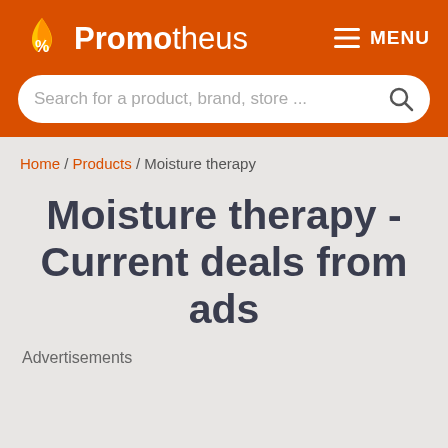Promotheus — MENU
Search for a product, brand, store ...
Home / Products / Moisture therapy
Moisture therapy - Current deals from ads
Advertisements